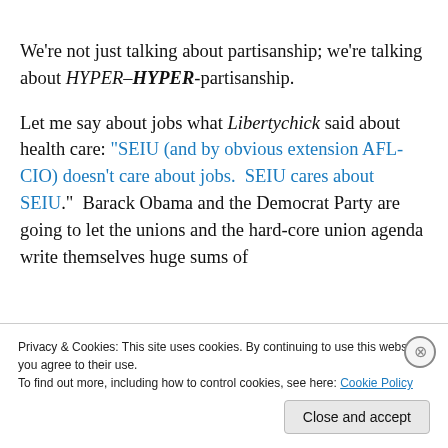We're not just talking about partisanship; we're talking about HYPER–HYPER-partisanship.
Let me say about jobs what Libertychick said about health care: "SEIU (and by obvious extension AFL-CIO) doesn't care about jobs.  SEIU cares about SEIU."  Barack Obama and the Democrat Party are going to let the unions and the hard-core union agenda write themselves huge sums of
Privacy & Cookies: This site uses cookies. By continuing to use this website, you agree to their use.
To find out more, including how to control cookies, see here: Cookie Policy
Close and accept